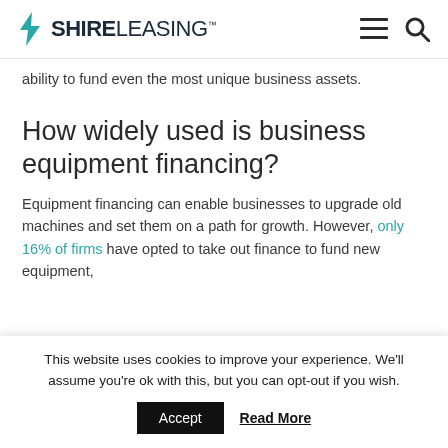SHIRE LEASING
ability to fund even the most unique business assets.
How widely used is business equipment financing?
Equipment financing can enable businesses to upgrade old machines and set them on a path for growth. However, only 16% of firms have opted to take out finance to fund new equipment,
This website uses cookies to improve your experience. We'll assume you're ok with this, but you can opt-out if you wish.